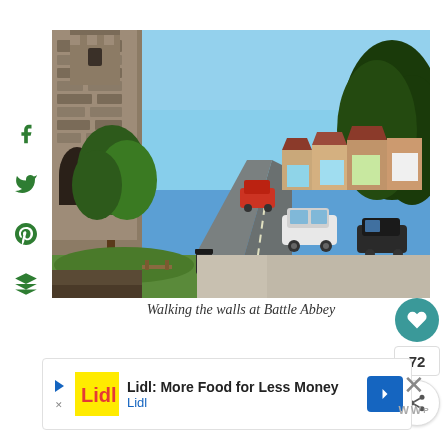[Figure (photo): Aerial/elevated view looking down a town high street with a castle wall and tower on the left, trees, parked cars, shops, and red-tiled buildings along the road. Blue sky above. Taken from the walls at Battle Abbey.]
Walking the walls at Battle Abbey
[Figure (infographic): Social media share bar on left side with Facebook, Twitter, Pinterest, and Buffer icons in green]
[Figure (infographic): Right action bar with teal heart/like button, count of 72, and share button]
[Figure (infographic): Advertisement banner: Lidl: More Food for Less Money – Lidl logo and blue arrow button]